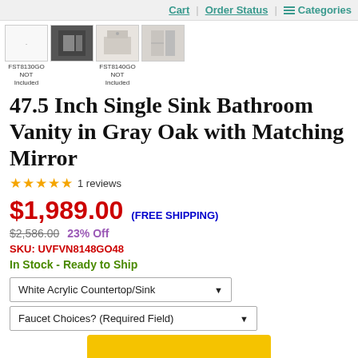Cart | Order Status | Categories
[Figure (photo): Four small product thumbnail images showing bathroom vanity and accessories. Two labeled FST8130GO NOT Included and FST8140GO NOT Included.]
47.5 Inch Single Sink Bathroom Vanity in Gray Oak with Matching Mirror
1 reviews
$1,989.00 (FREE SHIPPING)
$2,586.00  23% Off
SKU: UVFVN8148GO48
In Stock - Ready to Ship
White Acrylic Countertop/Sink
Faucet Choices? (Required Field)